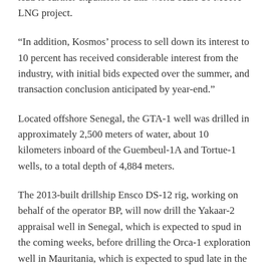expectation that the gas resource at Greater Tortue Ahmeyim will continue to grow over time and could lead to further expansion of this world-scale 10 MTPA LNG project.
“In addition, Kosmos’ process to sell down its interest to 10 percent has received considerable interest from the industry, with initial bids expected over the summer, and transaction conclusion anticipated by year-end.”
Located offshore Senegal, the GTA-1 well was drilled in approximately 2,500 meters of water, about 10 kilometers inboard of the Guembeul-1A and Tortue-1 wells, to a total depth of 4,884 meters.
The 2013-built drillship Ensco DS-12 rig, working on behalf of the operator BP, will now drill the Yakaar-2 appraisal well in Senegal, which is expected to spud in the coming weeks, before drilling the Orca-1 exploration well in Mauritania, which is expected to spud late in the third quarter.